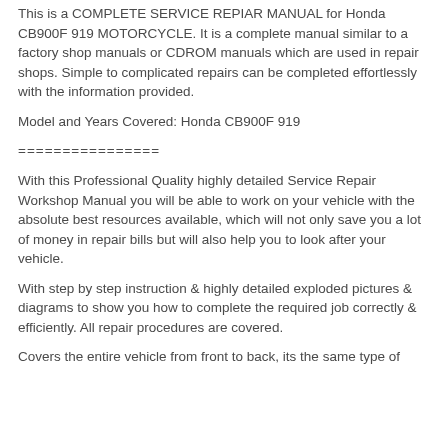This is a COMPLETE SERVICE REPIAR MANUAL for Honda CB900F 919 MOTORCYCLE. It is a complete manual similar to a factory shop manuals or CDROM manuals which are used in repair shops. Simple to complicated repairs can be completed effortlessly with the information provided.
Model and Years Covered: Honda CB900F 919
================
With this Professional Quality highly detailed Service Repair Workshop Manual you will be able to work on your vehicle with the absolute best resources available, which will not only save you a lot of money in repair bills but will also help you to look after your vehicle.
With step by step instruction & highly detailed exploded pictures & diagrams to show you how to complete the required job correctly & efficiently. All repair procedures are covered.
Covers the entire vehicle from front to back, its the same type of